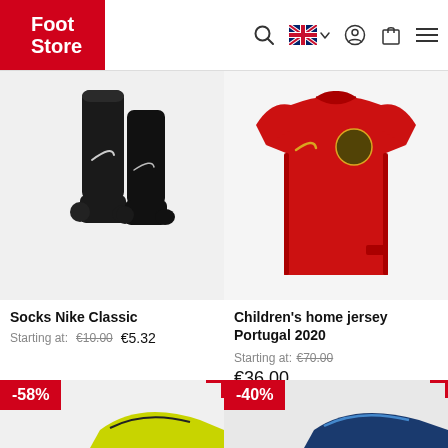Foot Store — navigation header with logo, search, language selector, user account, cart, and menu icons
[Figure (photo): Black Nike Classic football socks on white background]
Socks Nike Classic
Starting at: €10.00  €5.32
[Figure (photo): Red Portugal 2020 children's home jersey (Nike) on white background]
Children's home jersey Portugal 2020
Starting at: €70.00  €36.00
[Figure (photo): Partial view of yellow/black football boot with -58% discount badge]
[Figure (photo): Partial view of dark blue/blue football boot with -40% discount badge]